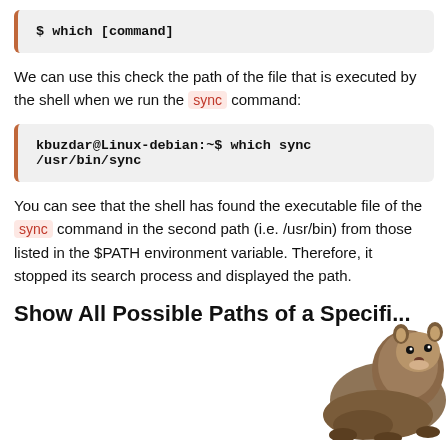$ which [command]
We can use this check the path of the file that is executed by the shell when we run the sync command:
kbuzdar@Linux-debian:~$ which sync
/usr/bin/sync
You can see that the shell has found the executable file of the sync command in the second path (i.e. /usr/bin) from those listed in the $PATH environment variable. Therefore, it stopped its search process and displayed the path.
Show All Possible Paths of a Specific Command